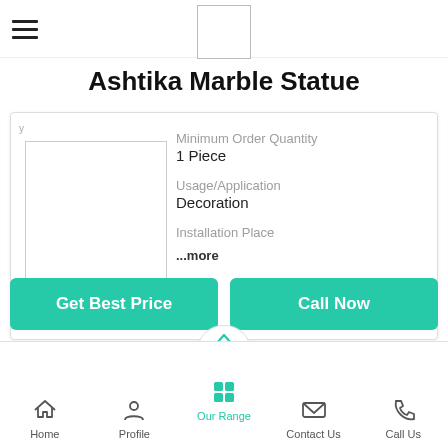[Figure (logo): Hamburger menu icon (three horizontal lines) at top left]
[Figure (logo): Company logo placeholder box at top center]
Ashtika Marble Statue
[Figure (photo): Product image placeholder (white box with border)]
Minimum Order Quantity
1 Piece
Usage/Application
Decoration
Installation Place
...more
Get Best Price
Call Now
Home   Profile   Our Range   Contact Us   Call Us